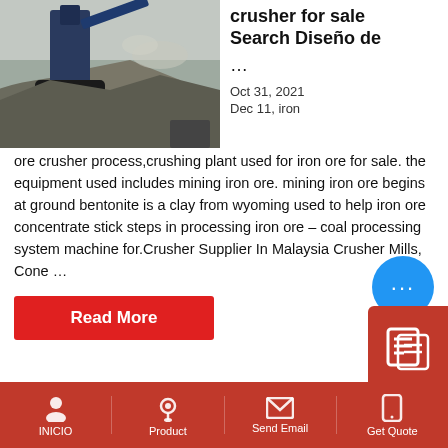[Figure (photo): Mining crusher machinery operating outdoors with large piles of crushed rock/gravel.]
crusher for sale Search Diseño de ...
Oct 31, 2021
Dec 11, iron ore crusher process,crushing plant used for iron ore for sale. the equipment used includes mining iron ore. mining iron ore begins at ground bentonite is a clay from wyoming used to help iron ore concentrate stick steps in processing iron ore – coal processing system machine for.Crusher Supplier In Malaysia Crusher Mills, Cone ...
Read More
INICIO   Product   Send Email   Get Quote